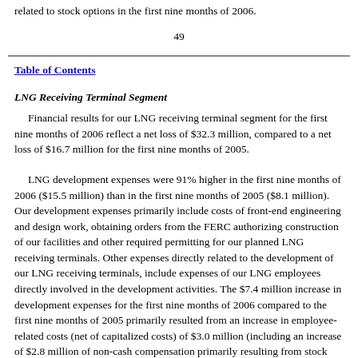related to stock options in the first nine months of 2006.
49
Table of Contents
LNG Receiving Terminal Segment
Financial results for our LNG receiving terminal segment for the first nine months of 2006 reflect a net loss of $32.3 million, compared to a net loss of $16.7 million for the first nine months of 2005.
LNG development expenses were 91% higher in the first nine months of 2006 ($15.5 million) than in the first nine months of 2005 ($8.1 million). Our development expenses primarily include costs of front-end engineering and design work, obtaining orders from the FERC authorizing construction of our facilities and other required permitting for our planned LNG receiving terminals. Other expenses directly related to the development of our LNG receiving terminals, include expenses of our LNG employees directly involved in the development activities. The $7.4 million increase in development expenses for the first nine months of 2006 compared to the first nine months of 2005 primarily resulted from an increase in employee-related costs (net of capitalized costs) of $3.0 million (including an increase of $2.8 million of non-cash compensation primarily resulting from stock option expense) and engineering, legal and other technical costs of $2.8 million. The increase in employee-related costs was due to our increase in the average number of employees from 27 in the first nine months of 2005 to 57 in the first nine months of 2006. This increase in employees resulted from the continued to an expanded development from 1,045 employees to related